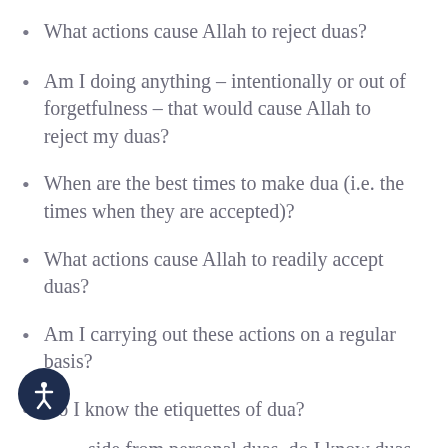What actions cause Allah to reject duas?
Am I doing anything – intentionally or out of forgetfulness – that would cause Allah to reject my duas?
When are the best times to make dua (i.e. the times when they are accepted)?
What actions cause Allah to readily accept duas?
Am I carrying out these actions on a regular basis?
Do I know the etiquettes of dua?
Aside from personal duas, do I know duas from the Quran and Sunnah that…